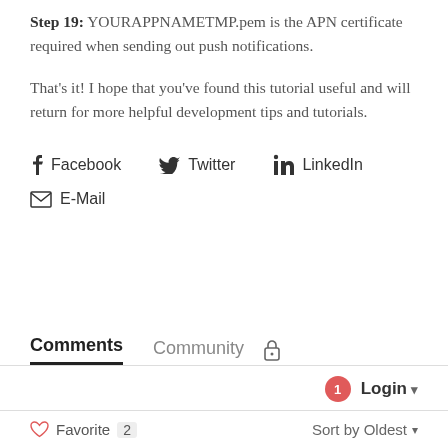Step 19: YOURAPPNAMETMP.pem is the APN certificate required when sending out push notifications.
That's it! I hope that you've found this tutorial useful and will return for more helpful development tips and tutorials.
Facebook  Twitter  LinkedIn  E-Mail
Comments  Community
Login
Favorite 2  Sort by Oldest